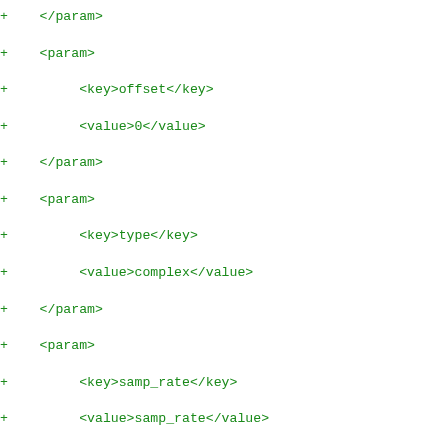+         </param>
+         <param>
+              <key>offset</key>
+              <value>0</value>
+         </param>
+         <param>
+              <key>type</key>
+              <value>complex</value>
+         </param>
+         <param>
+              <key>samp_rate</key>
+              <value>samp_rate</value>
+         </param>
+         <param>
+              <key>waveform</key>
+              <value>analog.GR_COS_WAVE</value>
+         </param>
+    </block>
+    <block>
+         <key>analog_sig_source_x</key>
+         <param>
+              <key>amp</key>
+              <value>ampl_2</value>
+         </param>
+         <param>
+              <key>alias</key>
+              <value></value>
+         </param>
+         <param>
+              <key>comment</key>